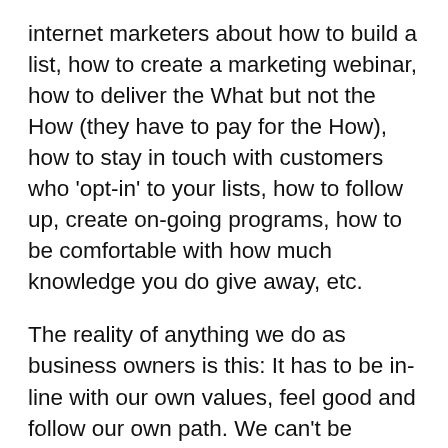internet marketers about how to build a list, how to create a marketing webinar, how to deliver the What but not the How (they have to pay for the How), how to stay in touch with customers who 'opt-in' to your lists, how to follow up, create on-going programs, how to be comfortable with how much knowledge you do give away, etc.
The reality of anything we do as business owners is this: It has to be in-line with our own values, feel good and follow our own path. We can't be